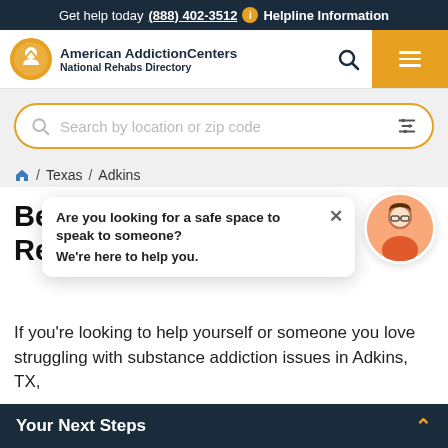Get help today (888) 402-3512 ℹ Helpline Information
[Figure (logo): American Addiction Centers National Rehabs Directory logo with circular icon showing a house/person silhouette]
Search by location or zip code
🏠 / Texas / Adkins
Best Alcohol and Drug Rehab ... TX
Are you looking for a safe space to speak to someone? We're here to help you.
If you're looking to help yourself or someone you love struggling with substance addiction issues in Adkins, TX,
Your Next Steps